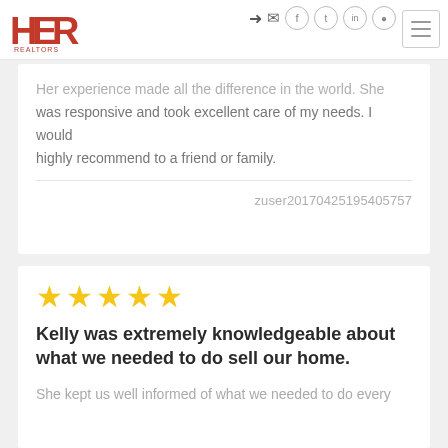HER Realtors
Her experience made all the difference in the world. She was responsive and took excellent care of my needs. I would highly recommend to a friend or family.
zuser20170425195405757
[Figure (other): Five gold star rating icons]
Kelly was extremely knowledgeable about what we needed to do sell our home.
She kept us well informed of what we needed to do every